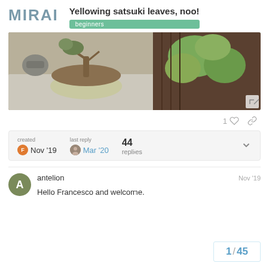Yellowing satsuki leaves, noo!
beginners
[Figure (photo): Photo of a bonsai tree in a white/cream oval pot on a table, with lush green-yellow foliage in the background against a wooden fence]
1 ♡ 🔗
| created | last reply | replies |
| --- | --- | --- |
| Nov '19 | Mar '20 | 44 replies |
antelion Nov '19
Hello Francesco and welcome.
1 / 45